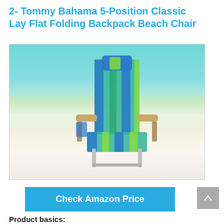2- Tommy Bahama 5-Position Classic Lay Flat Folding Backpack Beach Chair
[Figure (photo): Tommy Bahama beach chair with blue and green stripes, wooden armrests, placed on a sandy beach with clear turquoise water in the background.]
Check Amazon Price
Product basics: